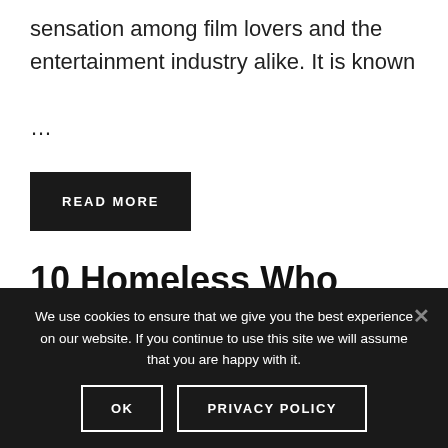sensation among film lovers and the entertainment industry alike. It is known …
READ MORE
10 Homeless Who Became
We use cookies to ensure that we give you the best experience on our website. If you continue to use this site we will assume that you are happy with it.
OK
PRIVACY POLICY